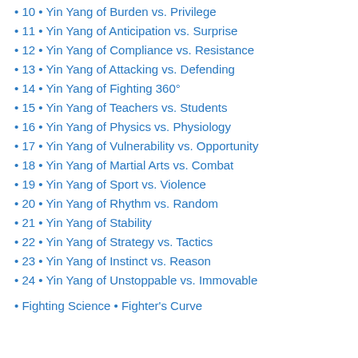• 10 • Yin Yang of Burden vs. Privilege
• 11 • Yin Yang of Anticipation vs. Surprise
• 12 • Yin Yang of Compliance vs. Resistance
• 13 • Yin Yang of Attacking vs. Defending
• 14 • Yin Yang of Fighting 360°
• 15 • Yin Yang of Teachers vs. Students
• 16 • Yin Yang of Physics vs. Physiology
• 17 • Yin Yang of Vulnerability vs. Opportunity
• 18 • Yin Yang of Martial Arts vs. Combat
• 19 • Yin Yang of Sport vs. Violence
• 20 • Yin Yang of Rhythm vs. Random
• 21 • Yin Yang of Stability
• 22 • Yin Yang of Strategy vs. Tactics
• 23 • Yin Yang of Instinct vs. Reason
• 24 • Yin Yang of Unstoppable vs. Immovable
• Fighting Science • Fighter's Curve